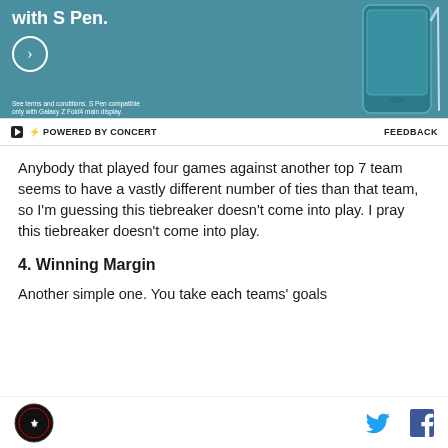[Figure (photo): Samsung Galaxy Z Fold4 advertisement banner with teal/blue background, phone image on right, 'with S Pen.' text, circle arrow button, and fine print about terms and conditions.]
⚡ POWERED BY CONCERT   FEEDBACK
Anybody that played four games against another top 7 team seems to have a vastly different number of ties than that team, so I'm guessing this tiebreaker doesn't come into play. I pray this tiebreaker doesn't come into play.
4. Winning Margin
Another simple one. You take each teams' goals
Logo | Twitter | Facebook